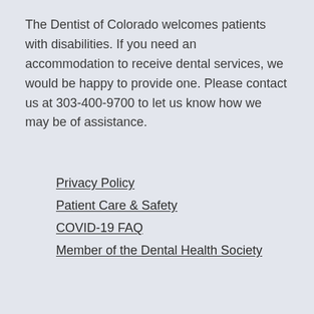The Dentist of Colorado welcomes patients with disabilities. If you need an accommodation to receive dental services, we would be happy to provide one. Please contact us at 303-400-9700 to let us know how we may be of assistance.
Privacy Policy
Patient Care & Safety
COVID-19 FAQ
Member of the Dental Health Society